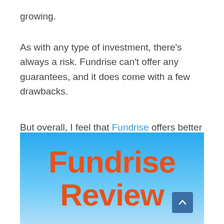growing.
As with any type of investment, there’s always a risk. Fundrise can’t offer any guarantees, and it does come with a few drawbacks.
But overall, I feel that Fundrise offers better options overall than 90% of its competitors.
[Figure (illustration): Blue gradient banner image with large orange bold text reading 'Fundrise Review' and a small scroll-to-top button in the bottom right corner.]